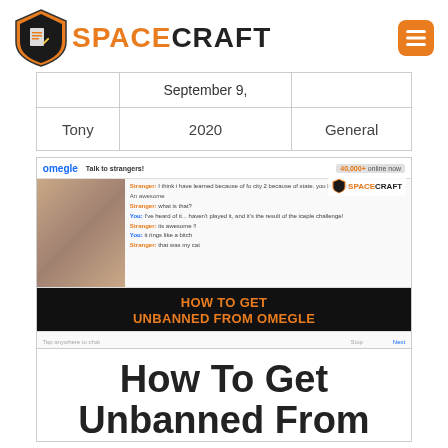SPACECRAFT
| Tony | September 9, 2020 | General |
| --- | --- | --- |
[Figure (screenshot): Screenshot of Omegle website with chat showing a conversation, overlaid with 'HOW TO GET UNBANNED FROM OMEGLE' banner text and SPACECRAFT logo watermark]
How To Get Unbanned From